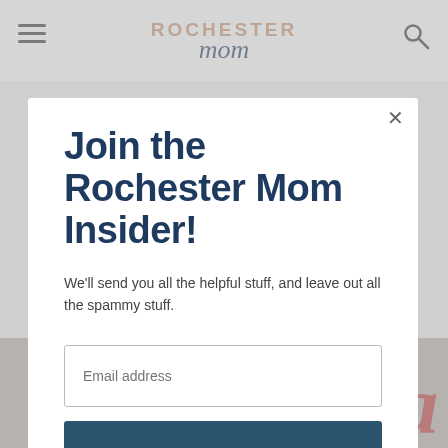Rochester Mom
[Figure (screenshot): Website screenshot showing Rochester Mom blog header with hamburger menu icon on left, Rochester Mom logo in center, and search icon on right]
Join the Rochester Mom Insider!
We'll send you all the helpful stuff, and leave out all the spammy stuff.
Email address
Subscribe
[Figure (photo): Partial photo at bottom showing red cursive text on white background, appears to say 'Wegmans' or similar brand name]